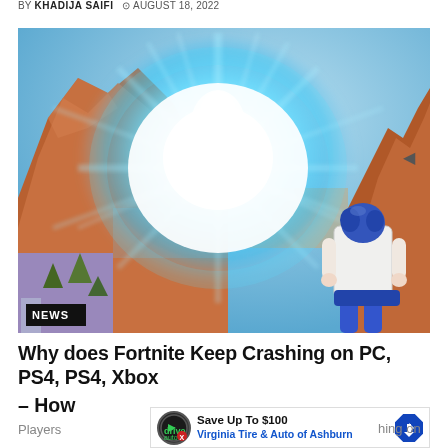BY KHADIJA SAIFI  ⊙ AUGUST 18, 2022
[Figure (screenshot): Screenshot from Fortnite showing a blue anime-style character (Bulma from Dragon Ball) watching a large cyan energy burst explosion in a desert canyon landscape. A NEWS badge is shown in the lower-left corner.]
Why does Fortnite Keep Crashing on PC, PS4, PS4, Xbox – How
Players
[Figure (other): Advertisement banner: Save Up To $100 Virginia Tire & Auto of Ashburn]
hing on